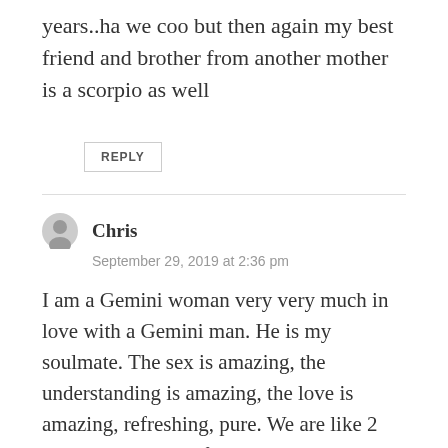years..ha we coo but then again my best friend and brother from another mother is a scorpio as well
REPLY
Chris
September 29, 2019 at 2:36 pm
I am a Gemini woman very very much in love with a Gemini man. He is my soulmate. The sex is amazing, the understanding is amazing, the love is amazing, refreshing, pure. We are like 2 children who have found their other pieces. We argue but always get back together, have each other's back, always forgiving each other, and focusing on the love.
I'm just wondering if on the long term our similarities are going to be sufficient for a